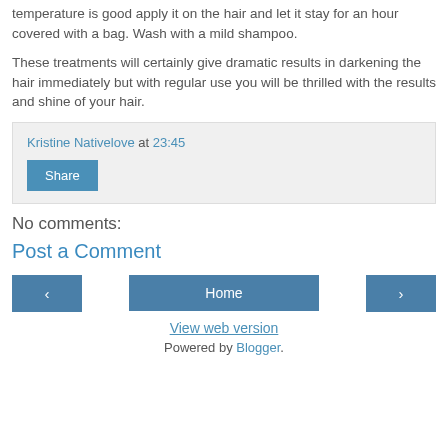temperature is good apply it on the hair and let it stay for an hour covered with a bag. Wash with a mild shampoo.
These treatments will certainly give dramatic results in darkening the hair immediately but with regular use you will be thrilled with the results and shine of your hair.
Kristine Nativelove at 23:45
Share
No comments:
Post a Comment
Home
View web version
Powered by Blogger.